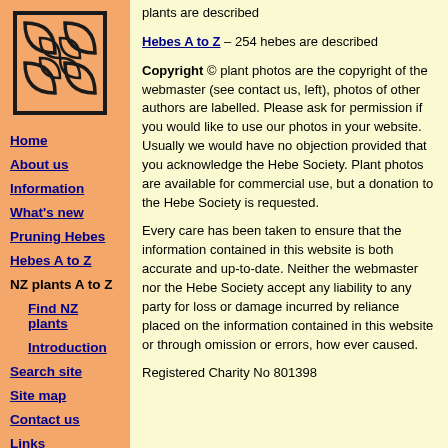[Figure (logo): Hebe Society logo — interlocking leaf/plant design in black on orange background]
Home
About us
Information
What's new
Pruning Hebes
Hebes A to Z
NZ plants A to Z
Find NZ plants
Introduction
Search site
Site map
Contact us
Links
plants are described
Hebes A to Z – 254 hebes are described
Copyright © plant photos are the copyright of the webmaster (see contact us, left), photos of other authors are labelled. Please ask for permission if you would like to use our photos in your website. Usually we would have no objection provided that you acknowledge the Hebe Society. Plant photos are available for commercial use, but a donation to the Hebe Society is requested.
Every care has been taken to ensure that the information contained in this website is both accurate and up-to-date. Neither the webmaster nor the Hebe Society accept any liability to any party for loss or damage incurred by reliance placed on the information contained in this website or through omission or errors, how ever caused.
Registered Charity No 801398